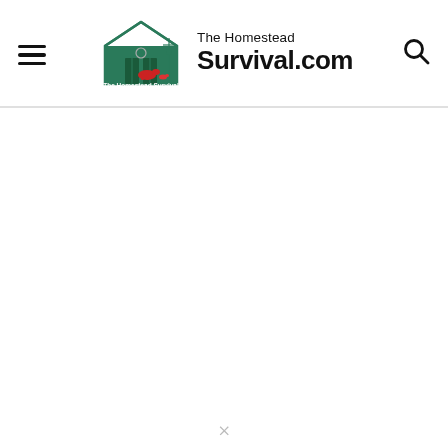The Homestead Survival.com — site header with hamburger menu, logo, site name, and search icon